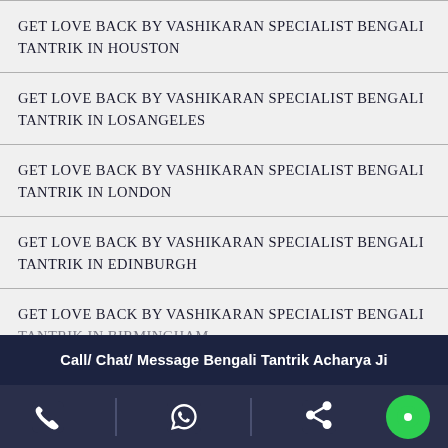GET LOVE BACK BY VASHIKARAN SPECIALIST BENGALI TANTRIK IN HOUSTON
GET LOVE BACK BY VASHIKARAN SPECIALIST BENGALI TANTRIK IN LOSANGELES
GET LOVE BACK BY VASHIKARAN SPECIALIST BENGALI TANTRIK IN LONDON
GET LOVE BACK BY VASHIKARAN SPECIALIST BENGALI TANTRIK IN EDINBURGH
GET LOVE BACK BY VASHIKARAN SPECIALIST BENGALI TANTRIK IN BIRMINGHAM
Call/ Chat/ Message Bengali Tantrik Acharya Ji